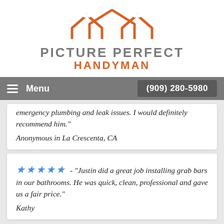[Figure (logo): Picture Perfect Handyman logo with orange house/roof shapes above gray text PICTURE PERFECT and orange text HANDYMAN]
Menu  (909) 280-5980
emergency plumbing and leak issues. I would definitely recommend him."
Anonymous in La Crescenta, CA
★★★★★ - "Justin did a great job installing grab bars in our bathrooms. He was quick, clean, professional and gave us a fair price."
Kathy